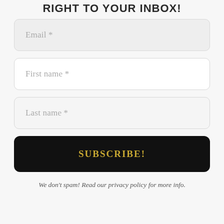RIGHT TO YOUR INBOX!
Email *
First name *
Last name *
SUBSCRIBE!
We don't spam! Read our privacy policy for more info.